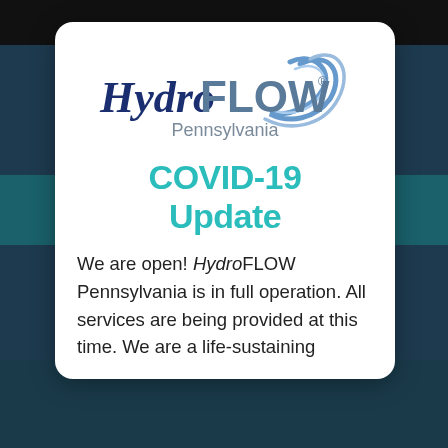[Figure (logo): HydroFLOW Pennsylvania logo with blue swirl graphic, 'Hydro' in italic navy blue serif, 'FLOW' in bold gray, registered trademark symbol, and 'Pennsylvania' in gray below]
COVID-19 Update
We are open! HydroFLOW Pennsylvania is in full operation. All services are being provided at this time. We are a life-sustaining